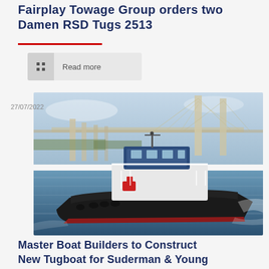Fairplay Towage Group orders two Damen RSD Tugs 2513
Read more
27/07/2022
[Figure (photo): A tugboat sailing on water with a large cable-stayed bridge in the background. The tug is white and dark-hulled with a blue wheelhouse and red accents.]
Master Boat Builders to Construct New Tugboat for Suderman & Young